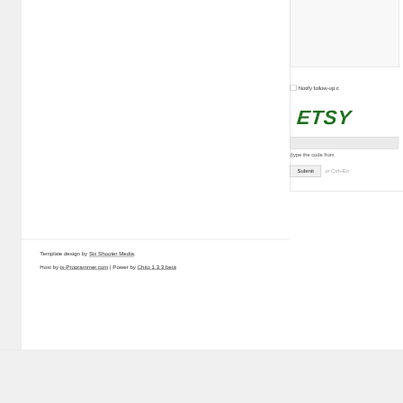[Figure (screenshot): Partial web page form showing a textarea (top right, partially cropped), a checkbox with 'Notify follow-up c...' label, a green handwritten-style CAPTCHA image showing 'ETSY', a CAPTCHA input field, hint text '(type the code from...', and a Submit button with 'or Ctrl+En...' text.]
Template design by Six Shooter Media.
Host by is-Programmer.com | Power by Chito 1.3.3 beta